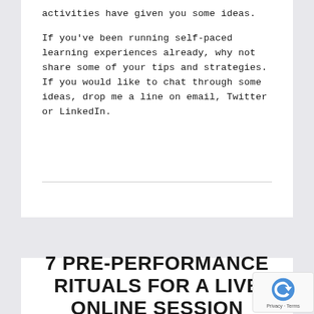activities have given you some ideas.

If you've been running self-paced learning experiences already, why not share some of your tips and strategies. If you would like to chat through some ideas, drop me a line on email, Twitter or LinkedIn.
7 PRE-PERFORMANCE RITUALS FOR A LIVE ONLINE SESSION